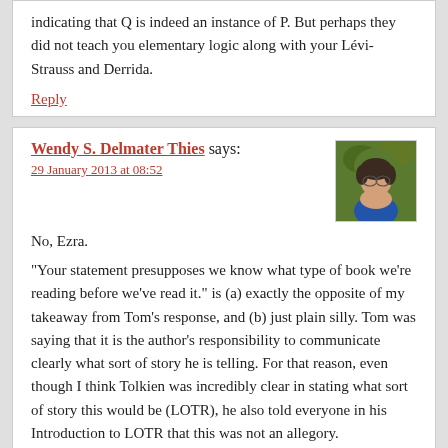indicating that Q is indeed an instance of P. But perhaps they did not teach you elementary logic along with your Lévi-Strauss and Derrida.
Reply
Wendy S. Delmater Thies says:
29 January 2013 at 08:52
[Figure (photo): Avatar/profile photo of Wendy S. Delmater Thies, a woman with short dark hair wearing a blue top, with green foliage in the background.]
No, Ezra.
“Your statement presupposes we know what type of book we’re reading before we’ve read it.” is (a) exactly the opposite of my takeaway from Tom’s response, and (b) just plain silly. Tom was saying that it is the author’s responsibility to communicate clearly what sort of story he is telling. For that reason, even though I think Tolkien was incredibly clear in stating what sort of story this would be (LOTR), he also told everyone in his Introduction to LOTR that this was not an allegory.
Reply